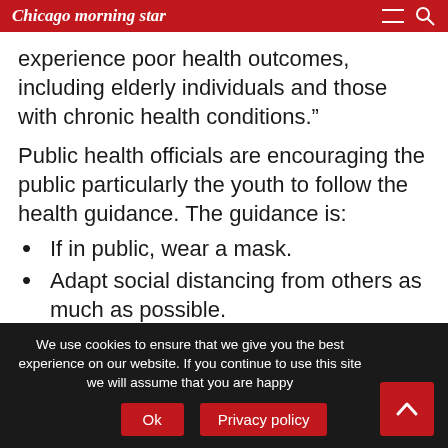Chicago morning star
experience poor health outcomes, including elderly individuals and those with chronic health conditions.”
Public health officials are encouraging the public particularly the youth to follow the health guidance. The guidance is:
If in public, wear a mask.
Adapt social distancing from others as much as possible.
Don’t participate in social gatherings.
Frequently wash hands
Work with health department officials as they
We use cookies to ensure that we give you the best experience on our website. If you continue to use this site we will assume that you are happy